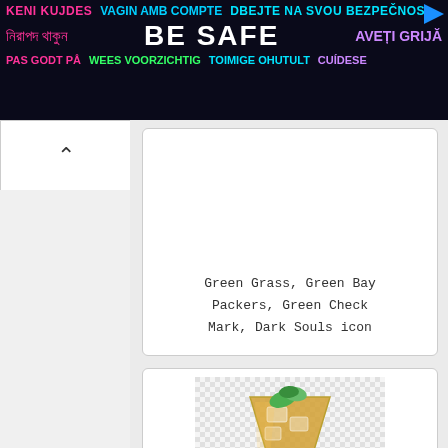[Figure (infographic): Banner advertisement with multilingual 'Be Safe' messaging. Row 1: KENI KUJDES (pink), VAGIN AMB COMPTE (cyan), DBEJTE NA SVOU BEZPEČNOS (cyan), play button. Row 2: Bengali text (pink), BE SAFE (white bold large), AVEȚI GRIJĂ (purple). Row 3: PAS GODT PÅ (pink), WEES VOORZICHTIG (green), TOIMIGE OHUTULT (cyan), CUÍDESE (purple). Dark navy background.]
[Figure (illustration): White card with text 'Green Grass, Green Bay Packers, Green Check Mark, Dark Souls icon' in monospace/courier font, centered at bottom of card.]
Green Grass, Green Bay Packers, Green Check Mark, Dark Souls icon
[Figure (illustration): White card containing a cocktail glass with orange/amber drink, ice cubes, and green mint garnish on top. Glass is on a checkered/transparent background pattern.]